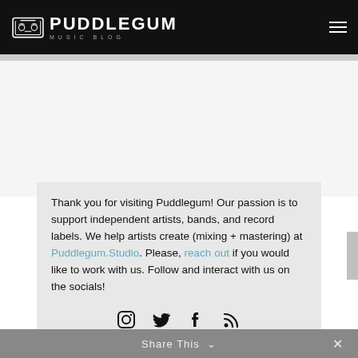[Figure (logo): Puddlegum Music Blog logo with cassette tape icon and text]
Thank you for visiting Puddlegum! Our passion is to support independent artists, bands, and record labels. We help artists create (mixing + mastering) at Puddlegum.Studio. Please, reach out if you would like to work with us. Follow and interact with us on the socials!
[Figure (infographic): Social media icons row: Instagram, Twitter, Facebook, RSS]
Share This ∨  ✕